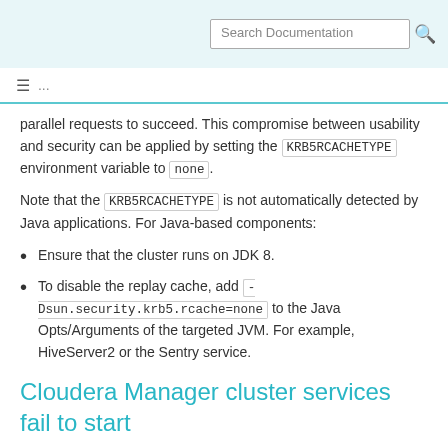Search Documentation
parallel requests to succeed. This compromise between usability and security can be applied by setting the KRB5RCACHETYPE environment variable to none.
Note that the KRB5RCACHETYPE is not automatically detected by Java applications. For Java-based components:
Ensure that the cluster runs on JDK 8.
To disable the replay cache, add -Dsun.security.krb5.rcache=none to the Java Opts/Arguments of the targeted JVM. For example, HiveServer2 or the Sentry service.
Cloudera Manager cluster services fail to start